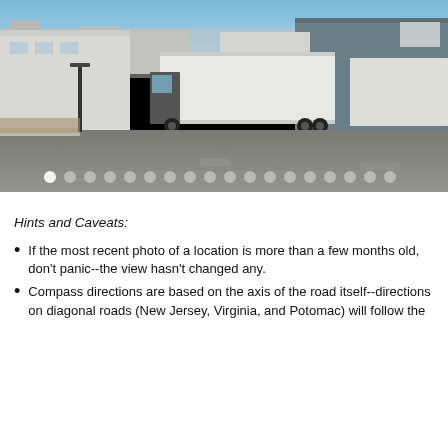[Figure (photo): Street-level photo of an industrial area with large semi-truck trailers parked on a road, warehouse buildings on either side, and a clear blue sky in the background. Navigation dots are visible at the bottom of the image.]
Hints and Caveats:
If the most recent photo of a location is more than a few months old, don't panic--the view hasn't changed any.
Compass directions are based on the axis of the road itself--directions on diagonal roads (New Jersey, Virginia, and Potomac) will follow the